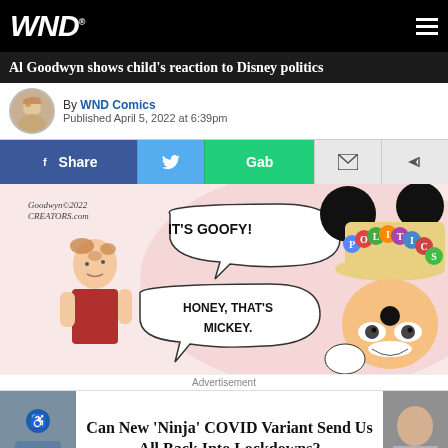WND
Al Goodwyn shows child's reaction to Disney politics
By WND Comics
Published April 5, 2022 at 6:39pm
[Figure (screenshot): Social share bar with Facebook Share, Twitter, Gab, Email, and Forward buttons]
[Figure (illustration): Political cartoon by Goodwyn/Creators.com showing a child pointing at Mickey Mouse wearing a hat labeled POLITICS, saying 'IT'S GOOFY!' while an adult replies 'HONEY, THAT'S MICKEY.']
Advertisement
Can New 'Ninja' COVID Variant Send Us All Back Into Lockdowns?